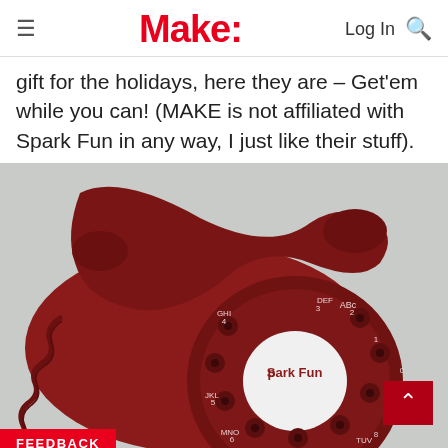Make:
gift for the holidays, here they are – Get'em while you can! (MAKE is not affiliated with Spark Fun in any way, I just like their stuff).
[Figure (photo): A red vintage rotary telephone with a Spark Fun label in the center of the dial, photographed on a light gray background.]